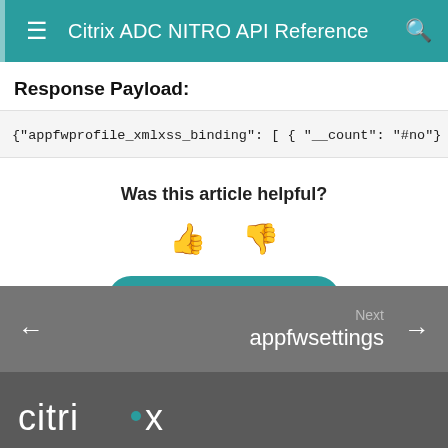Citrix ADC NITRO API Reference
Response Payload:
{"appfwprofile_xmlxss_binding": [ { "__count": "#no"}
Was this article helpful?
Provide Feedback
Next appfwsettings
[Figure (logo): Citrix logo wordmark in white on dark grey background]